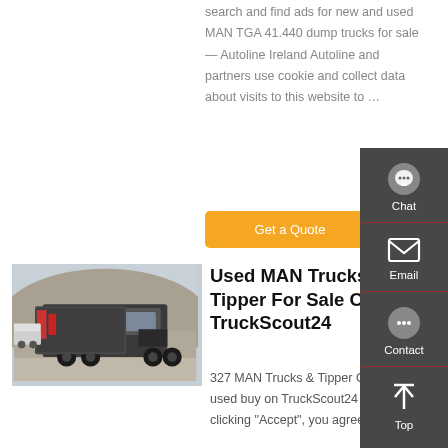search and find ads for new and used MAN TGA 41.440 dump trucks for sale — Autoline Ireland Autoline and partners use cookie and collect data about visits to this website to …
Get a Quote
[Figure (photo): Photo of a used MAN truck (tipper/dumper) parked outdoors near a hillside, viewed from the front-left angle.]
Used MAN Trucks Tipper For Sale On TruckScout24
327 MAN Trucks & Tipper Offer used buy on TruckScout24 By clicking "Accept", you agree to